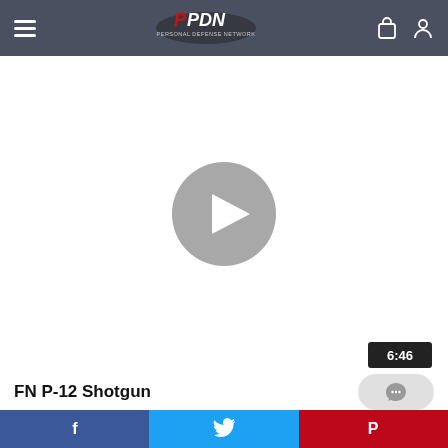PDN Personal Defense Network
[Figure (screenshot): Video player with white background, gray circular play button in center, duration badge showing 6:46 in bottom right corner]
FN P-12 Shotgun
The 12 gauge pump-action shotgun is ubiquitous in the
[Figure (other): Social share bar with Facebook, Twitter, and Pinterest buttons]